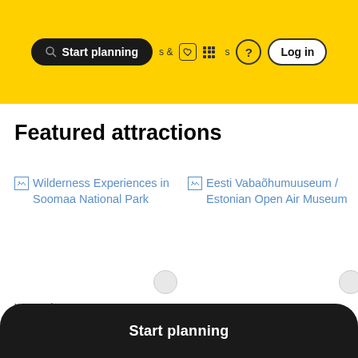Start planning | & activities | ? | Log in
Featured attractions
[Figure (screenshot): Broken image placeholder for Wilderness Experiences in Soomaa National Park]
[Figure (screenshot): Broken image placeholder for Eesti Vabaõhumuuseum / Estonian Open Air Museum]
NATURE / WILDLIFE TOUR
Wilderness Experiences
WILDLIFE AREA
Eesti Vabaõhumuuseum /
Start planning